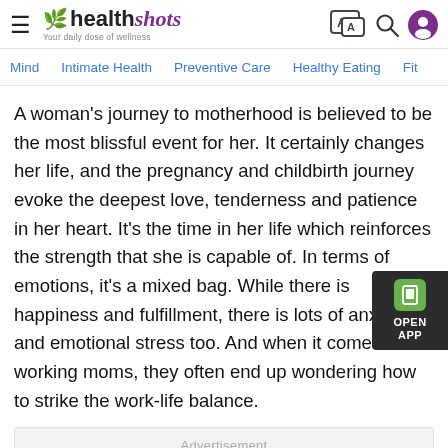healthshots — Your daily dose of wellness
Mind   Intimate Health   Preventive Care   Healthy Eating   Fit
A woman's journey to motherhood is believed to be the most blissful event for her. It certainly changes her life, and the pregnancy and childbirth journey evoke the deepest love, tenderness and patience in her heart. It's the time in her life which reinforces the strength that she is capable of. In terms of emotions, it's a mixed bag. While there is happiness and fulfillment, there is lots of anxiety and emotional stress too. And when it comes to working moms, they often end up wondering how to strike the work-life balance.
Advertisement